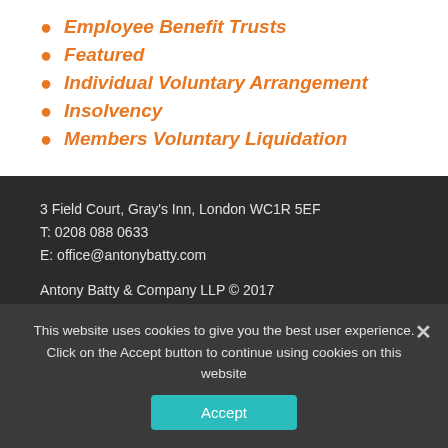Employee Benefit Trusts
Featured
Individual Voluntary Arrangement
Insolvency
Members Voluntary Liquidation
3 Field Court, Gray's Inn, London WC1R 5EF
T: 0208 088 0633
E: office@antonybatty.com

Antony Batty & Company LLP © 2017

Sitemap
Privacy Policy and Terms & Conditions
This website uses cookies to give you the best user experience. Click on the Accept button to continue using cookies on this website